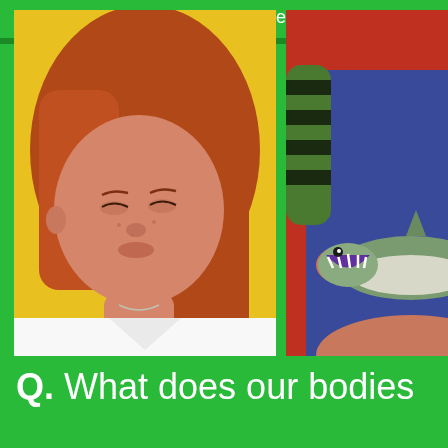great feeling to make someone else feel great!
[Figure (photo): Young woman with long red hair looking to the side, against a yellow background, wearing a white top.]
[Figure (photo): Person wearing a blue dress and green striped long-sleeve top, sitting and holding a plastic shark toy.]
Q. What does our bodies